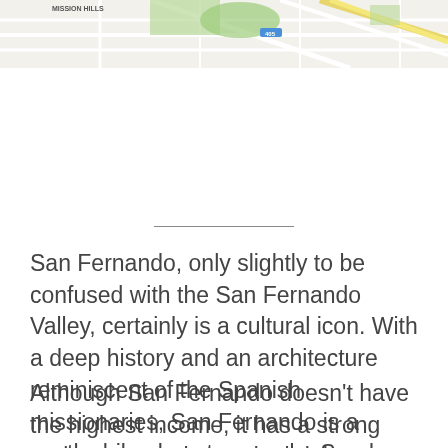[Figure (map): Partial street map showing Mission Hills area with roads and green spaces]
San Fernando, only slightly to be confused with the San Fernando Valley, certainly is a cultural icon. With a deep history and an architecture reminiscent of the Spanish missionaries, San Fernando is a worthwhile place to spend a Sunday afternoon. And for many families, it's a place to call home.
Although San Fernando doesn't have the highest income, it has a strong real estate market and a bright